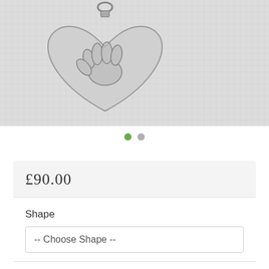[Figure (photo): Close-up photo of a silver heart-shaped charm pendant with a handprint or baby footprint engraving, on a textured white background. The charm hangs from a silver ring/clasp.]
£90.00
Shape
-- Choose Shape --